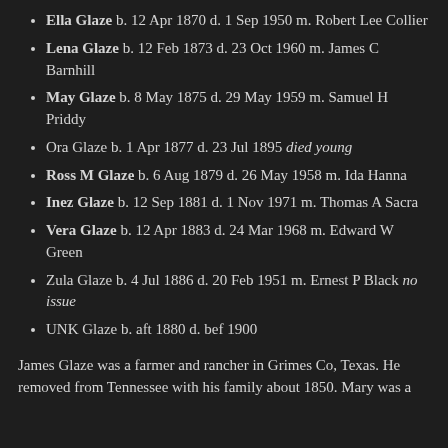Ella Glaze b. 12 Apr 1870 d. 1 Sep 1950 m. Robert Lee Collier
Lena Glaze b. 12 Feb 1873 d. 23 Oct 1960 m. James C Barnhill
May Glaze b. 8 May 1875 d. 29 May 1959 m. Samuel H Priddy
Ora Glaze b. 1 Apr 1877 d. 23 Jul 1895 died young
Ross M Glaze b. 6 Aug 1879 d. 26 May 1958 m. Ida Hanna
Inez Glaze b. 12 Sep 1881 d. 1 Nov 1971 m. Thomas A Sacra
Vera Glaze b. 12 Apr 1883 d. 24 Mar 1968 m. Edward W Green
Zula Glaze b. 4 Jul 1886 d. 20 Feb 1951 m. Ernest P Black no issue
UNK Glaze b. aft 1880 d. bef 1900
James Glaze was a farmer and rancher in Grimes Co, Texas. He removed from Tennessee with his family about 1850. Mary was a